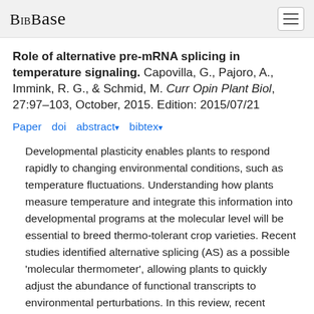BibBase
Role of alternative pre-mRNA splicing in temperature signaling. Capovilla, G., Pajoro, A., Immink, R. G., & Schmid, M. Curr Opin Plant Biol, 27:97–103, October, 2015. Edition: 2015/07/21
Paper doi abstract ▾ bibtex ▾
Developmental plasticity enables plants to respond rapidly to changing environmental conditions, such as temperature fluctuations. Understanding how plants measure temperature and integrate this information into developmental programs at the molecular level will be essential to breed thermo-tolerant crop varieties. Recent studies identified alternative splicing (AS) as a possible 'molecular thermometer', allowing plants to quickly adjust the abundance of functional transcripts to environmental perturbations. In this review, recent